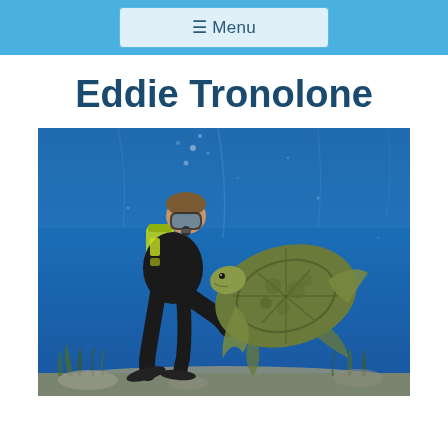☰ Menu
Eddie Tronolone
[Figure (photo): Scuba diver underwater holding or interacting with a sea turtle on the ocean floor, with blue water background and coral/seagrass visible on the bottom.]